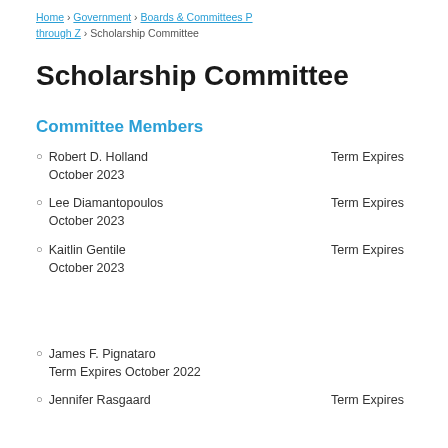Home › Government › Boards & Committees P through Z › Scholarship Committee
Scholarship Committee
Committee Members
Robert D. Holland    Term Expires October 2023
Lee Diamantopoulos    Term Expires October 2023
Kaitlin Gentile    Term Expires October 2023
James F. Pignataro    Term Expires October 2022
Jennifer Rasgaard    Term Expires